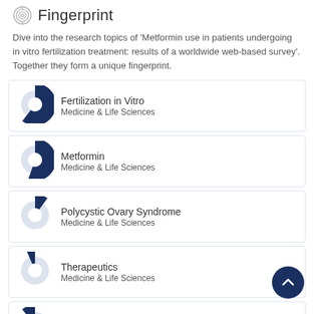Fingerprint
Dive into the research topics of 'Metformin use in patients undergoing in vitro fertilization treatment: results of a worldwide web-based survey'. Together they form a unique fingerprint.
[Figure (donut-chart): Donut chart mostly filled (~85%) in dark blue for Fertilization in Vitro]
Fertilization in Vitro
Medicine & Life Sciences
[Figure (donut-chart): Donut chart mostly filled (~80%) in dark blue for Metformin]
Metformin
Medicine & Life Sciences
[Figure (donut-chart): Donut chart partially filled (~35%) in dark blue for Polycystic Ovary Syndrome]
Polycystic Ovary Syndrome
Medicine & Life Sciences
[Figure (donut-chart): Donut chart slightly filled (~18%) in dark blue for Therapeutics]
Therapeutics
Medicine & Life Sciences
[Figure (donut-chart): Donut chart slightly filled (~15%) in dark blue for Habitual Abortion]
Habitual Abortion